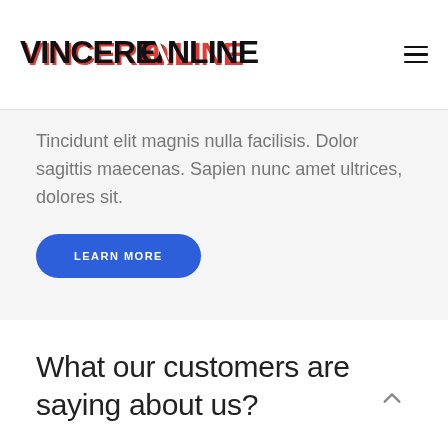VINCERE.ONLINE
Tincidunt elit magnis nulla facilisis. Dolor sagittis maecenas. Sapien nunc amet ultrices, dolores sit.
LEARN MORE
What our customers are saying about us?